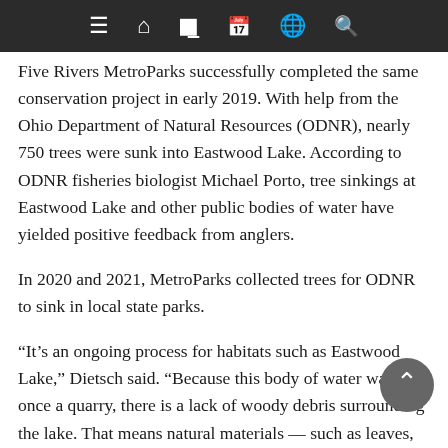Navigation bar with menu, home, news, calendar, globe, and search icons
Five Rivers MetroParks successfully completed the same conservation project in early 2019. With help from the Ohio Department of Natural Resources (ODNR), nearly 750 trees were sunk into Eastwood Lake. According to ODNR fisheries biologist Michael Porto, tree sinkings at Eastwood Lake and other public bodies of water have yielded positive feedback from anglers.
In 2020 and 2021, MetroParks collected trees for ODNR to sink in local state parks.
“It’s an ongoing process for habitats such as Eastwood Lake,” Dietsch said. “Because this body of water was once a quarry, there is a lack of woody debris surrounding the lake. That means natural materials — such as leaves, branches and wood — don’t fall into the lake. With help from the community, we can support aquatic life and improve angling opportunities.